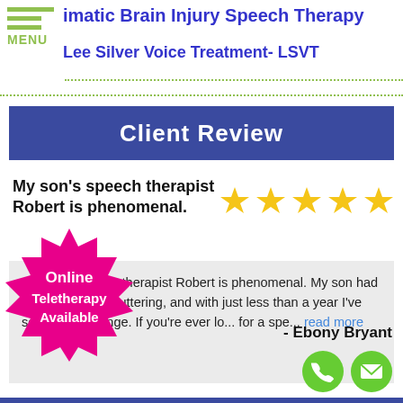imatic Brain Injury Speech Therapy
Lee Silver Voice Treatment- LSVT
Client Review
My son's speech therapist Robert is phenomenal.
My son's speech therapist Robert is phenomenal. My son had difficulties with stuttering, and with just less than a year I've seen a big change. If you're ever lo... for a spe... read more
- Ebony Bryant
[Figure (infographic): Pink star-burst badge with white text reading 'Online Teletherapy Available']
[Figure (infographic): Two green circular contact icons: phone and email]